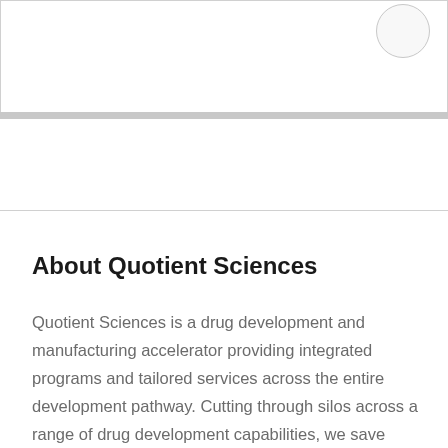[Figure (other): Top section with a white box containing a partial circle/logo in the upper right corner, followed by a gray horizontal bar below the box.]
About Quotient Sciences
Quotient Sciences is a drug development and manufacturing accelerator providing integrated programs and tailored services across the entire development pathway. Cutting through silos across a range of drug development capabilities, we save precious time and money in getting drugs to patients. Everything we do for our customers is driven by an unswerving belief that ideas need to become solutions, molecules need to become cures, fast. Because humanity needs solutions, fast.